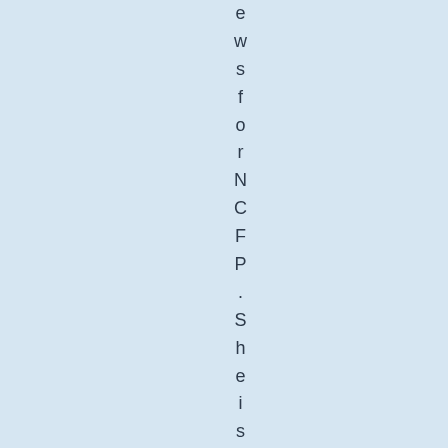ews for NCFP. She is a dedicat